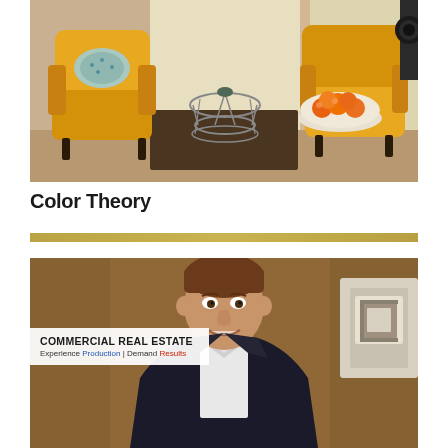[Figure (photo): Interior living room scene with two yellow/mustard wingback chairs, a wire-frame side table, and a bowl of oranges on a dark coffee table, bright window in background]
Color Theory
[Figure (photo): Professional headshot of a smiling young man in a dark suit jacket and white shirt, standing in front of a brown/wood-paneled wall with a partial logo visible. Overlay text reads: COMMERCIAL REAL ESTATE / Experience Production | Demand Results]